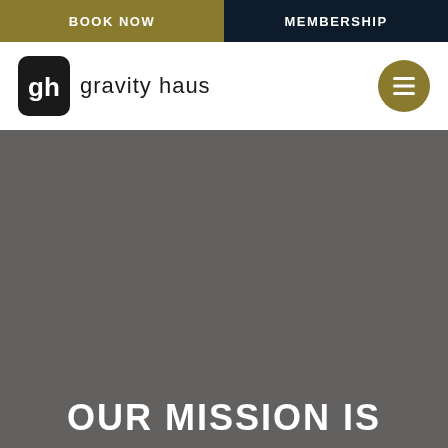BOOK NOW | MEMBERSHIP
[Figure (logo): Gravity Haus logo with stylized GH icon and lowercase text 'gravity haus', plus hamburger menu button in gold circle on the right]
[Figure (photo): Large dark gray image placeholder for hero section background]
OUR MISSION IS